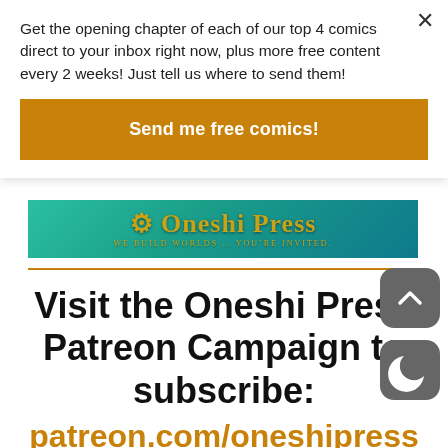Get the opening chapter of each of our top 4 comics direct to your inbox right now, plus more free content every 2 weeks! Just tell us where to send them!
Send me free comics!
[Figure (logo): Oneshi Press banner logo with teal/green background, gold text reading 'Oneshi Press' with circular icon, subtitle 'We Build Worlds... You're Invited.']
Visit the Oneshi Press Patreon Campaign to subscribe:
patreon.com/oneshipress